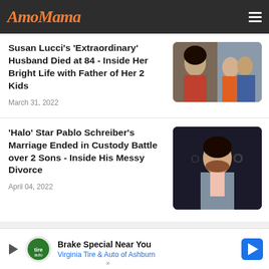AmoMama
Susan Lucci's 'Extraordinary' Husband Died at 84 - Inside Her Bright Life with Father of Her 2 Kids
March 31, 2022
[Figure (photo): Two photos of Susan Lucci: solo portrait and with her husband]
'Halo' Star Pablo Schreiber's Marriage Ended in Custody Battle over 2 Sons - Inside His Messy Divorce
April 04, 2022
[Figure (photo): Pablo Schreiber at a Halo event backdrop]
Brake Special Near You
Virginia Tire & Auto of Ashburn